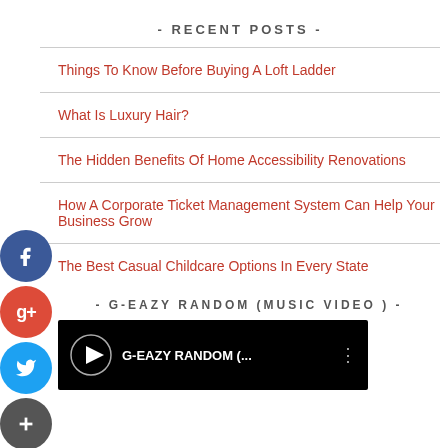- RECENT POSTS -
Things To Know Before Buying A Loft Ladder
What Is Luxury Hair?
The Hidden Benefits Of Home Accessibility Renovations
How A Corporate Ticket Management System Can Help Your Business Grow
The Best Casual Childcare Options In Every State
- G-EAZY RANDOM (MUSIC VIDEO ) -
[Figure (screenshot): Video thumbnail showing G-EAZY RANDOM music video with dark background, artist icon, title text, and a vertical dots menu icon]